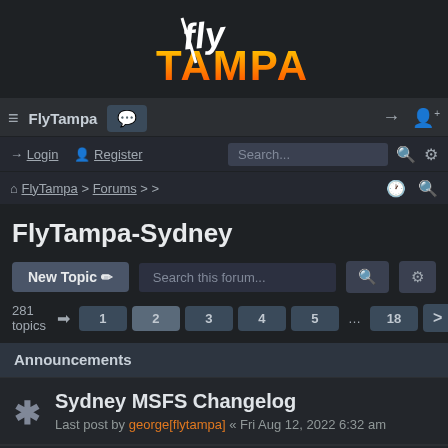[Figure (logo): FlyTampa logo with stylized white 'fly' script and bold orange-yellow 'TAMPA' text]
≡ FlyTampa  💬  →  👤+
→ Login  👤 Register  |  Search...  🔍  ⚙
⌂ FlyTampa > Forums > >   🕐  🔍
FlyTampa-Sydney
New Topic ✏  Search this forum...  🔍  ⚙
281 topics  ➡  1  2  3  4  5  ...  18  >
Announcements
Sydney MSFS Changelog
Last post by george[flytampa] « Fri Aug 12, 2022 6:32 am
Prepar3DV5 Compatibility